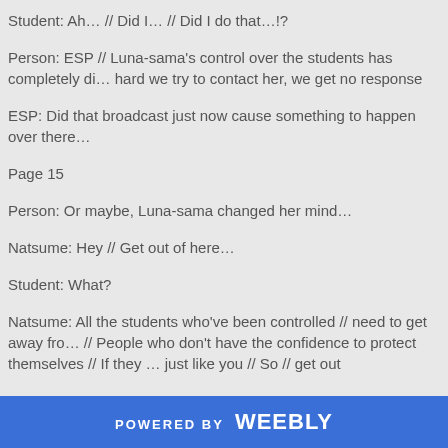Student: Ah… // Did I… // Did I do that…!?
Person: ESP // Luna-sama's control over the students has completely di… hard we try to contact her, we get no response
ESP: Did that broadcast just now cause something to happen over there…
Page 15
Person: Or maybe, Luna-sama changed her mind…
Natsume: Hey // Get out of here…
Student: What?
Natsume: All the students who've been controlled // need to get away fro… // People who don't have the confidence to protect themselves // If they … just like you // So // get out
POWERED BY weebly